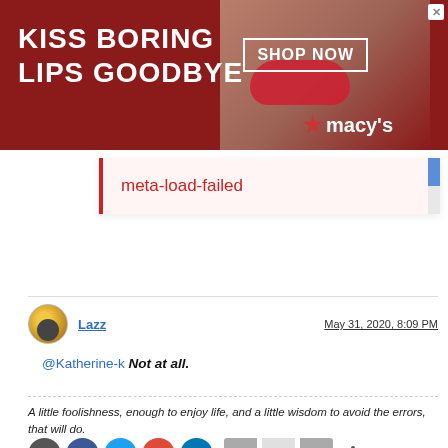[Figure (photo): Advertisement banner: dark red background with woman's face and text 'KISS BORING LIPS GOODBYE', 'SHOP NOW', and Macy's logo]
meta-load-failed
Lazz
May 31, 2020, 8:09 PM
@Katherine-k Not at all.
A little foolishness, enough to enjoy life, and a little wisdom to avoid the errors, that will do.
[Figure (infographic): Social sharing buttons (email, facebook, twitter, google+, linkedin) and vote up/down with count 1, and more options button]
Up to 30% off Ballard Designs
Furniture stores and home decor. It's Ballard!
ballarddesigns.com